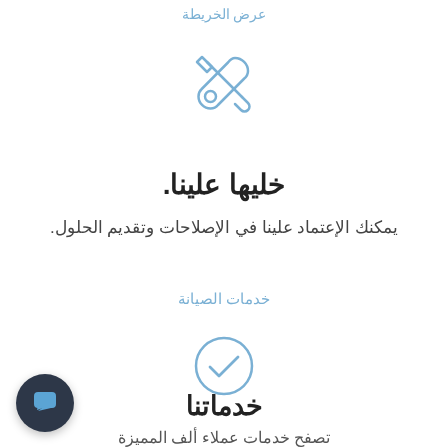عرض الخريطة
[Figure (illustration): Blue outline icon of crossed wrench and screwdriver tools]
خليها علينا.
يمكنك الإعتماد علينا في الإصلاحات وتقديم الحلول.
خدمات الصيانة
[Figure (illustration): Blue circle with checkmark icon]
خدماتنا
تصفح خدمات عملاء ألف المميزة